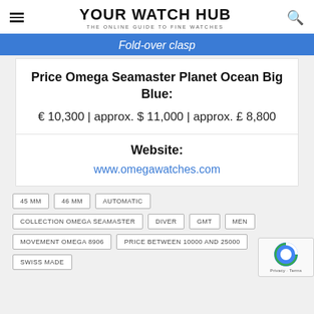YOUR WATCH HUB — THE ONLINE GUIDE TO FINE WATCHES
Fold-over clasp
Price Omega Seamaster Planet Ocean Big Blue:
€ 10,300 | approx. $ 11,000 | approx. £ 8,800
Website:
www.omegawatches.com
45 MM
46 MM
AUTOMATIC
COLLECTION OMEGA SEAMASTER
DIVER
GMT
MEN
MOVEMENT OMEGA 8906
PRICE BETWEEN 10000 AND 25000
SWISS MADE